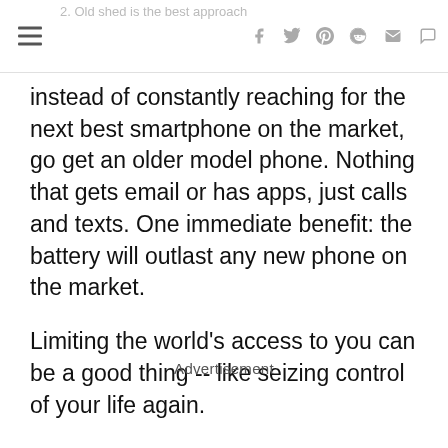2. Old shed is the best approach
instead of constantly reaching for the next best smartphone on the market, go get an older model phone. Nothing that gets email or has apps, just calls and texts. One immediate benefit: the battery will outlast any new phone on the market.
Limiting the world's access to you can be a good thing -- like seizing control of your life again.
Advertisement